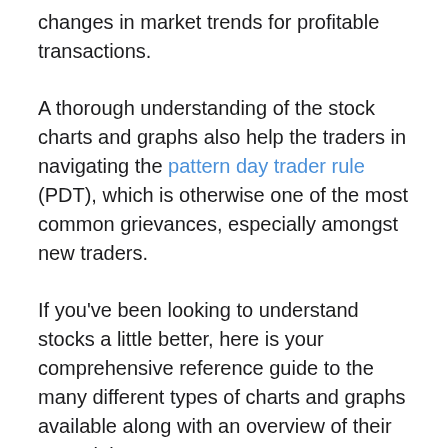changes in market trends for profitable transactions.
A thorough understanding of the stock charts and graphs also help the traders in navigating the pattern day trader rule (PDT), which is otherwise one of the most common grievances, especially amongst new traders.
If you've been looking to understand stocks a little better, here is your comprehensive reference guide to the many different types of charts and graphs available along with an overview of their potential uses.
1. Line Charts